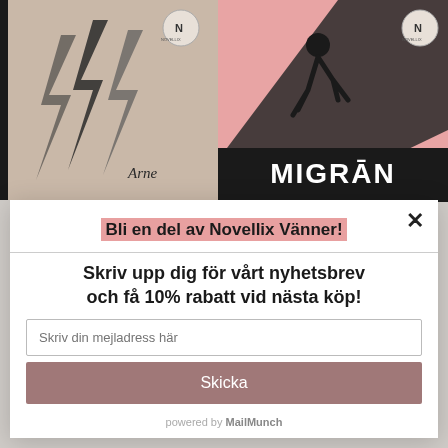[Figure (screenshot): Two book covers in the background: left cover is beige/tan with lightning bolt graphics and title 'Arne', right cover is pink with a running figure silhouette and title 'MIGRĀN' in bold white text on black background. Both have a Novellix logo badge.]
Bli en del av Novellix Vänner!
Skriv upp dig för vårt nyhetsbrev och få 10% rabatt vid nästa köp!
Skriv din mejladress här
Skicka
powered by MailMunch